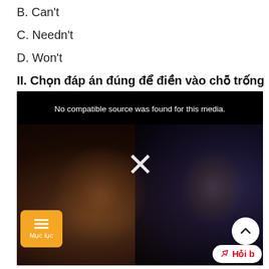B. Can't
C. Needn't
D. Won't
II. Chọn đáp án đúng để điền vào chỗ trống
[Figure (screenshot): Video player showing 'No compatible source was found for this media.' with a dark background photo of cinema audience (a woman in focus), an X mark overlay, a Mục lục (table of contents) orange button, an up-arrow circle button, and a 'Hỏi b' red button.]